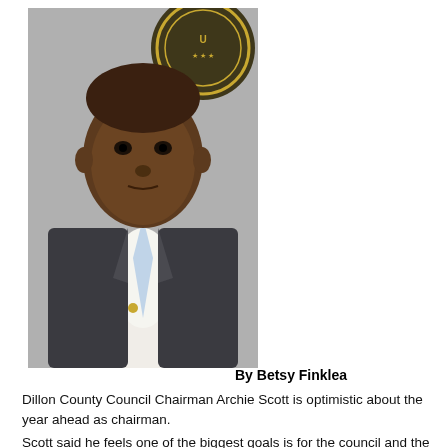[Figure (photo): Portrait photo of Dillon County Council Chairman Archie Scott, a man in a dark suit with a light blue tie, standing in front of a circular seal/emblem.]
By Betsy Finklea
Dillon County Council Chairman Archie Scott is optimistic about the year ahead as chairman.
Scott said he feels one of the biggest goals is for the council and the public to move past the negative publicity. He feels that council and the citizens of Dillon County have been victimized over some of the past governmental policies and procedures that date back several decades.